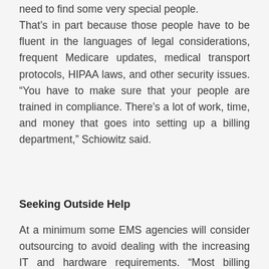need to find some very special people. That’s in part because those people have to be fluent in the languages of legal considerations, frequent Medicare updates, medical transport protocols, HIPAA laws, and other security issues. “You have to make sure that your people are trained in compliance. There’s a lot of work, time, and money that goes into setting up a billing department,” Schiowitz said.
Seeking Outside Help
At a minimum some EMS agencies will consider outsourcing to avoid dealing with the increasing IT and hardware requirements. “Most billing companies, at least the good ones, will host the application. Some will even provide a